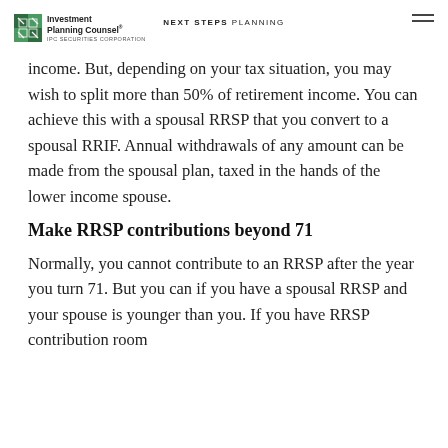Investment Planning Counsel IPC SECURITIES CORPORATION | NEXT STEPS PLANNING
income. But, depending on your tax situation, you may wish to split more than 50% of retirement income. You can achieve this with a spousal RRSP that you convert to a spousal RRIF. Annual withdrawals of any amount can be made from the spousal plan, taxed in the hands of the lower income spouse.
Make RRSP contributions beyond 71
Normally, you cannot contribute to an RRSP after the year you turn 71. But you can if you have a spousal RRSP and your spouse is younger than you. If you have RRSP contribution room